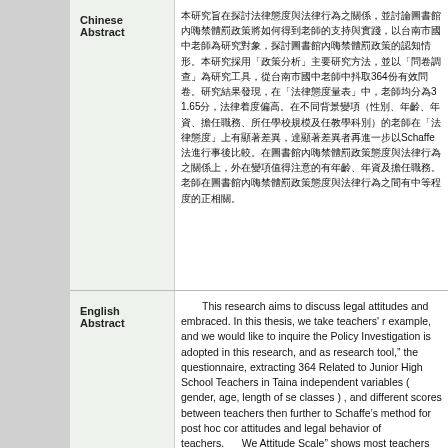Chinese Abstract
Chinese abstract text (CJK characters) ending with ...31.65...
English Abstract
This research aims to discuss legal attitudes and embraced. In this thesis, we take teachers' r example, and we would like to inquire the Policy Investigation is adopted in this research, and as research tool," the questionnaire, extracting 364 Related to Junior High School Teachers in Taina independent variables ( gender, age, length of se classes ) , and different scores between teachers then further to Schaffe's method for post hoc cor attitudes and legal behavior of teachers.      We Attitude Scale" shows most teachers possess co Corporal Punishment Policy Scale" indicates tea are age, length of service, and functions of office which are gender, functions of office, and school moderate positive correlation between teachers' between teachers' legal attitudes and responses